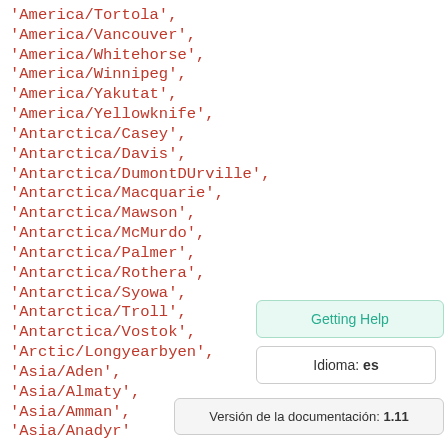'America/Tortola',
'America/Vancouver',
'America/Whitehorse',
'America/Winnipeg',
'America/Yakutat',
'America/Yellowknife',
'Antarctica/Casey',
'Antarctica/Davis',
'Antarctica/DumontDUrville',
'Antarctica/Macquarie',
'Antarctica/Mawson',
'Antarctica/McMurdo',
'Antarctica/Palmer',
'Antarctica/Rothera',
'Antarctica/Syowa',
'Antarctica/Troll',
'Antarctica/Vostok',
'Arctic/Longyearbyen',
'Asia/Aden',
'Asia/Almaty',
'Asia/Amman',
'Asia/Anadyr'
Getting Help
Idioma: es
Versión de la documentación: 1.11